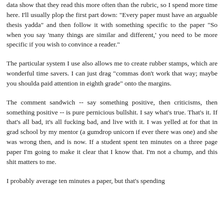data show that they read this more often than the rubric, so I spend more time here. I'll usually plop the first part down: "Every paper must have an arguable thesis yadda" and then follow it with something specific to the paper "So when you say 'many things are similar and different,' you need to be more specific if you wish to convince a reader."
The particular system I use also allows me to create rubber stamps, which are wonderful time savers. I can just drag "commas don't work that way; maybe you shoulda paid attention in eighth grade" onto the margins.
The comment sandwich -- say something positive, then criticisms, then something positive -- is pure pernicious bullshit. I say what's true. That's it. If that's all bad, it's all fucking bad, and live with it. I was yelled at for that in grad school by my mentor (a gumdrop unicorn if ever there was one) and she was wrong then, and is now. If a student spent ten minutes on a three page paper I'm going to make it clear that I know that. I'm not a chump, and this shit matters to me.
I probably average ten minutes a paper, but that's spending